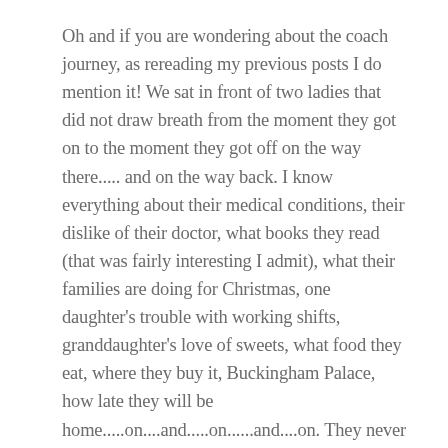Oh and if you are wondering about the coach journey, as rereading my previous posts I do mention it! We sat in front of two ladies that did not draw breath from the moment they got on to the moment they got off on the way there..... and on the way back. I know everything about their medical conditions, their dislike of their doctor, what books they read (that was fairly interesting I admit), what their families are doing for Christmas, one daughter's trouble with working shifts, granddaughter's love of sweets, what food they eat, where they buy it, Buckingham Palace, how late they will be home.....on....and.....on......and....on. They never once mentioned whether they enjoyed the day!
But the best of the journey has to go to the lady who asked the coach driver about the possible delays around Wembley Stadium (England were playing a home match